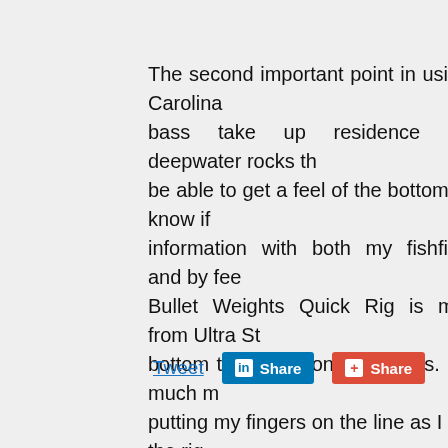The second important point in using a Carolina rig bass take up residence near deepwater rocks th be able to get a feel of the bottom and know if information with both my fishfinder and by fee Bullet Weights Quick Rig is made from Ultra St bottom than traditional lead rigs. I am much m putting my fingers on the line as I drag the rig
I highly recommend trying the Bullet Weight C be using this type of presentation. You will soo for bass anglers seeking big fish.
Tweet  Share  Share